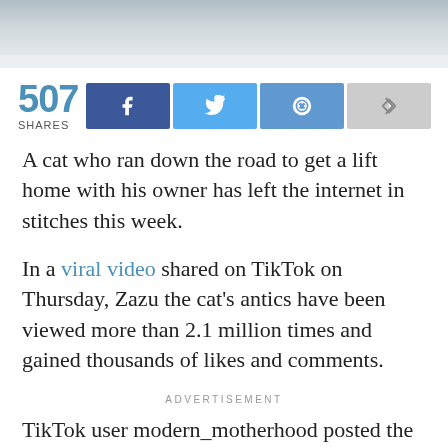[Figure (photo): Blurred/faded background photo at top of page, appearing to show a light grey-blue scene, partially visible]
507 SHARES
[Figure (infographic): Social share buttons: Facebook (dark blue), Twitter (light blue), Reddit (medium blue), Share (grey)]
A cat who ran down the road to get a lift home with his owner has left the internet in stitches this week.
In a viral video shared on TikTok on Thursday, Zazu the cat's antics have been viewed more than 2.1 million times and gained thousands of likes and comments.
ADVERTISEMENT
TikTok user modern_motherhood posted the video from inside her car when the white kitty can be seen running up the road and the voice behind the